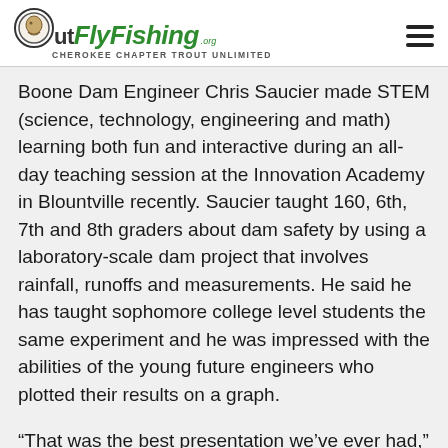OutFly Fishing .org — Cherokee Chapter Trout Unlimited
Boone Dam Engineer Chris Saucier made STEM (science, technology, engineering and math) learning both fun and interactive during an all-day teaching session at the Innovation Academy in Blountville recently. Saucier taught 160, 6th, 7th and 8th graders about dam safety by using a laboratory-scale dam project that involves rainfall, runoffs and measurements. He said he has taught sophomore college level students the same experiment and he was impressed with the abilities of the young future engineers who plotted their results on a graph.
“That was the best presentation we’ve ever had,” said Innovation Academy Science Teacher Ryan Lovelace, who commended Saucier for making engineering fun.